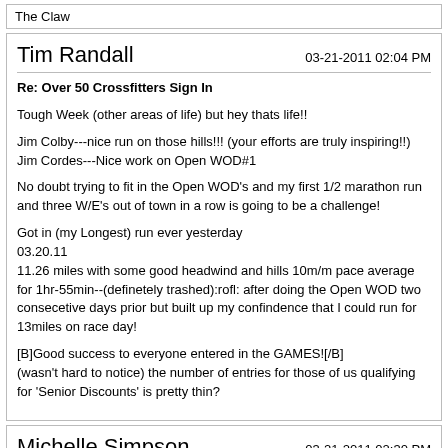The Claw
Tim Randall
03-21-2011 02:04 PM
Re: Over 50 Crossfitters Sign In
Tough Week (other areas of life) but hey thats life!!
Jim Colby---nice run on those hills!!! (your efforts are truly inspiring!!)
Jim Cordes---Nice work on Open WOD#1
No doubt trying to fit in the Open WOD's and my first 1/2 marathon run and three W/E's out of town in a row is going to be a challenge!
Got in (my Longest) run ever yesterday
03.20.11
11.26 miles with some good headwind and hills 10m/m pace average for 1hr-55min--(definetely trashed):rofl: after doing the Open WOD two consecetive days prior but built up my confindence that I could run for 13miles on race day!
[B]Good success to everyone entered in the GAMES![/B]
(wasn't hard to notice) the number of entries for those of us qualifying for 'Senior Discounts' is pretty thin?
Michelle Simpson
03-21-2011 02:30 PM